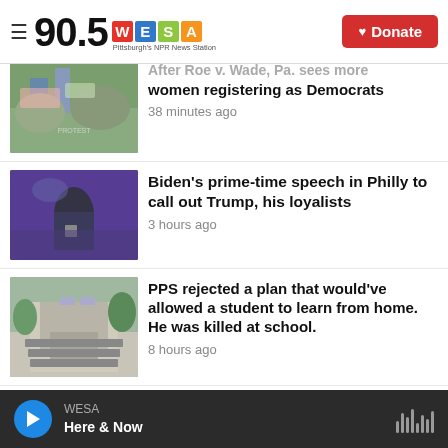90.5 WESA Pittsburgh's NPR News Station | Donate
[Figure (photo): Protest crowd with signs, partially cropped at top]
After Roe v. Wade, Pa. sees more women registering as Democrats
38 minutes ago
[Figure (photo): Joe Biden speaking at podium with microphone in purple-lit venue]
Biden's prime-time speech in Philly to call out Trump, his loyalists
3 hours ago
[Figure (photo): School building exterior with steps and green trees]
PPS rejected a plan that would've allowed a student to learn from home. He was killed at school.
8 hours ago
[Figure (photo): Ornate interior building, partially cropped]
Thousands of Pa. nursing home
WESA Here & Now